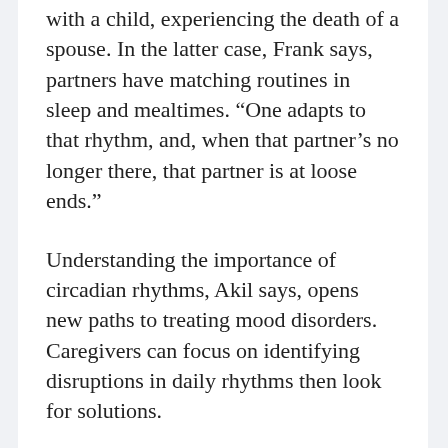with a child, experiencing the death of a spouse. In the latter case, Frank says, partners have matching routines in sleep and mealtimes. “One adapts to that rhythm, and, when that partner’s no longer there, that partner is at loose ends.”
Understanding the importance of circadian rhythms, Akil says, opens new paths to treating mood disorders. Caregivers can focus on identifying disruptions in daily rhythms then look for solutions.